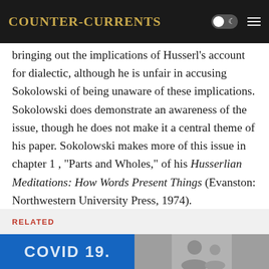Counter-Currents
bringing out the implications of Husserl’s account for dialectic, although he is unfair in accusing Sokolowski of being unaware of these implications. Sokolowski does demonstrate an awareness of the issue, though he does not make it a central theme of his paper. Sokolowski makes more of this issue in chapter 1 , “Parts and Wholes,” of his Husserlian Meditations: How Words Present Things (Evanston: Northwestern University Press, 1974).
RELATED
[Figure (photo): Blue background image with white text reading 'COVID 19.' partially visible]
[Figure (photo): Grayscale photo partially visible on the right side]